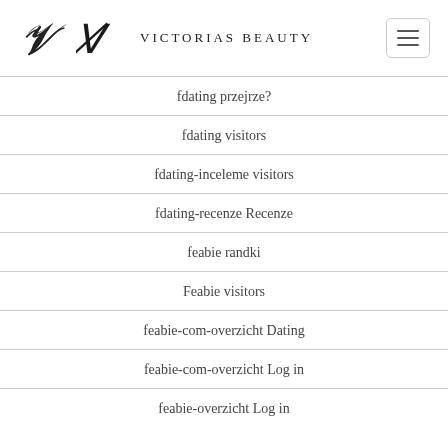Victorias Beauty
fdating przejrze?
fdating visitors
fdating-inceleme visitors
fdating-recenze Recenze
feabie randki
Feabie visitors
feabie-com-overzicht Dating
feabie-com-overzicht Log in
feabie-overzicht Log in